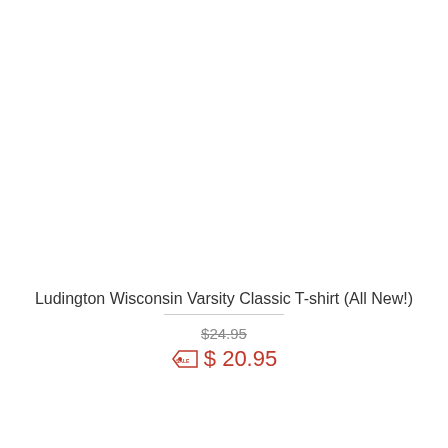Ludington Wisconsin Varsity Classic T-shirt (All New!)
$24.95
$ 20.95